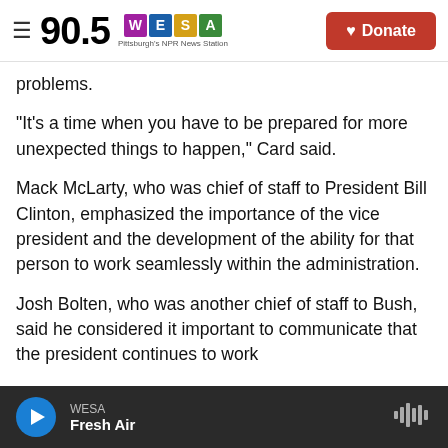90.5 WESA Pittsburgh's NPR News Station | Donate
problems.
"It's a time when you have to be prepared for more unexpected things to happen," Card said.
Mack McLarty, who was chief of staff to President Bill Clinton, emphasized the importance of the vice president and the development of the ability for that person to work seamlessly within the administration.
Josh Bolten, who was another chief of staff to Bush, said he considered it important to communicate that the president continues to work
WESA | Fresh Air